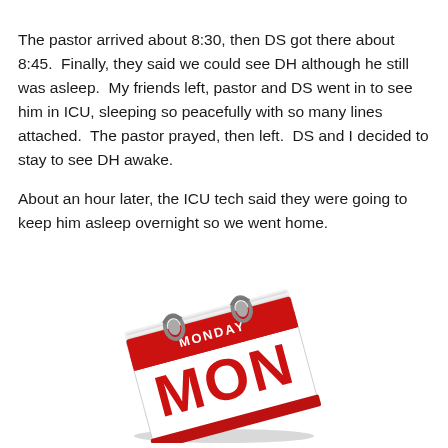The pastor arrived about 8:30, then DS got there about 8:45.  Finally, they said we could see DH although he still was asleep.  My friends left, pastor and DS went in to see him in ICU, sleeping so peacefully with so many lines attached.  The pastor prayed, then left.  DS and I decided to stay to see DH awake.
About an hour later, the ICU tech said they were going to keep him asleep overnight so we went home.
[Figure (illustration): A red desk calendar showing Monday (MON) with ring binder at the top, tilted at an angle. The top red strip reads MONDAY in white text, and the main white page shows MON in large bold red letters.]